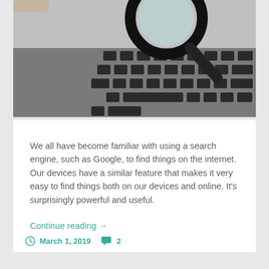[Figure (photo): Black and white photo of a magnifying glass resting on a laptop keyboard]
We all have become familiar with using a search engine, such as Google, to find things on the internet. Our devices have a similar feature that makes it very easy to find things both on our devices and online. It's surprisingly powerful and useful.
Continue reading →
March 1, 2019   2